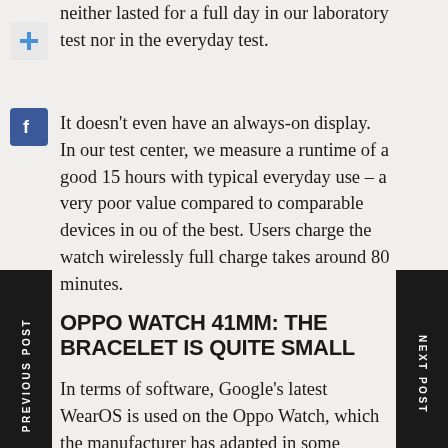neither lasted for a full day in our laboratory test nor in the everyday test.
It doesn't even have an always-on display. In our test center, we measure a runtime of a good 15 hours with typical everyday use – a very poor value compared to comparable devices in our of the best. Users charge the watch wirelessly full charge takes around 80 minutes.
OPPO WATCH 41MM: THE BRACELET IS QUITE SMALL
In terms of software, Google's latest WearOS is used on the Oppo Watch, which the manufacturer has adapted in some places. The PlayStore with WearOS apps is on board. Of course, the watch offers basic functions, including an appointment